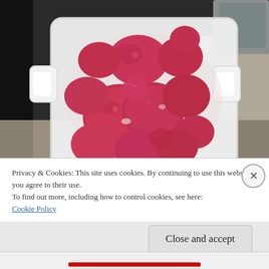[Figure (photo): Overhead view of red potatoes in a white square colander/strainer with handles, positioned near a kitchen sink with granite countertop visible]
Privacy & Cookies: This site uses cookies. By continuing to use this website, you agree to their use.
To find out more, including how to control cookies, see here:
Cookie Policy
Close and accept